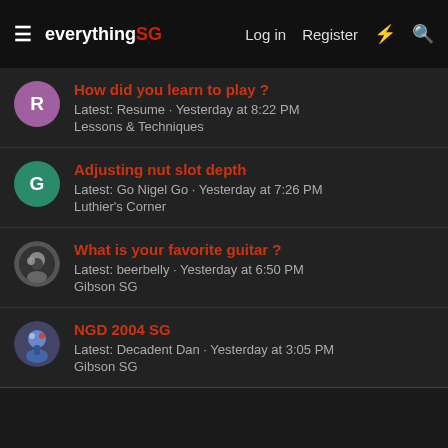everything SG — Log in | Register
How did you learn to play?
Latest: Resume · Yesterday at 8:22 PM
Lessons & Techniques
Adjusting nut slot depth
Latest: Go Nigel Go · Yesterday at 7:26 PM
Luthier's Corner
What is your favorite guitar ?
Latest: beerbelly · Yesterday at 6:50 PM
Gibson SG
NGD 2004 SG
Latest: Decadent Dan · Yesterday at 3:05 PM
Gibson SG